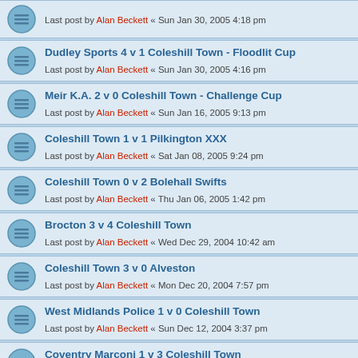Last post by Alan Beckett « Sun Jan 30, 2005 4:18 pm
Dudley Sports 4 v 1 Coleshill Town - Floodlit Cup
Last post by Alan Beckett « Sun Jan 30, 2005 4:16 pm
Meir K.A. 2 v 0 Coleshill Town - Challenge Cup
Last post by Alan Beckett « Sun Jan 16, 2005 9:13 pm
Coleshill Town 1 v 1 Pilkington XXX
Last post by Alan Beckett « Sat Jan 08, 2005 9:24 pm
Coleshill Town 0 v 2 Bolehall Swifts
Last post by Alan Beckett « Thu Jan 06, 2005 1:42 pm
Brocton 3 v 4 Coleshill Town
Last post by Alan Beckett « Wed Dec 29, 2004 10:42 am
Coleshill Town 3 v 0 Alveston
Last post by Alan Beckett « Mon Dec 20, 2004 7:57 pm
West Midlands Police 1 v 0 Coleshill Town
Last post by Alan Beckett « Sun Dec 12, 2004 3:37 pm
Coventry Marconi 1 v 3 Coleshill Town
Last post by Alan Beckett « Sun Dec 05, 2004 9:45 pm
Highgate United 3 v 1 Coleshill Town
Last post by Alan Beckett « Sun Dec 05, 2004 9:42 pm
Coleshill Town 1 v 1 Shifnal Town
Last post by Alan Beckett « Mon Nov 29, 2004 3:47 pm
Coleshill Town 3 v 2 Coseley - Floodlit Cup